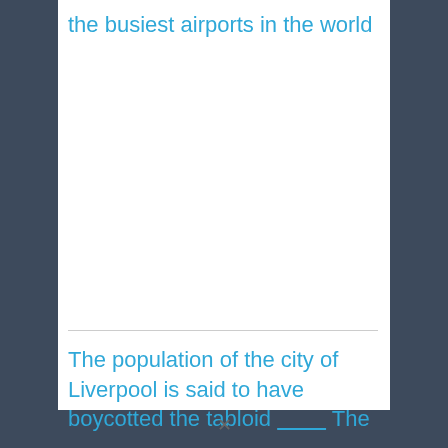the busiest airports in the world
The population of the city of Liverpool is said to have boycotted the tabloid ________ The